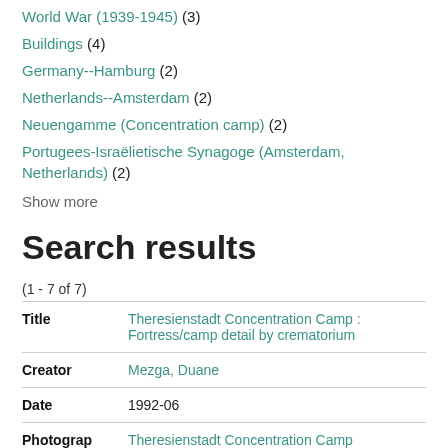World War (1939-1945) (3)
Buildings (4)
Germany--Hamburg (2)
Netherlands--Amsterdam (2)
Neuengamme (Concentration camp) (2)
Portugees-Israëlietische Synagoge (Amsterdam, Netherlands) (2)
Show more
Search results
(1 - 7 of 7)
| Field | Value |
| --- | --- |
| Title | Theresienstadt Concentration Camp : Fortress/camp detail by crematorium |
| Creator | Mezga, Duane |
| Date | 1992-06 |
| Photographed Site | Theresienstadt Concentration Camp |